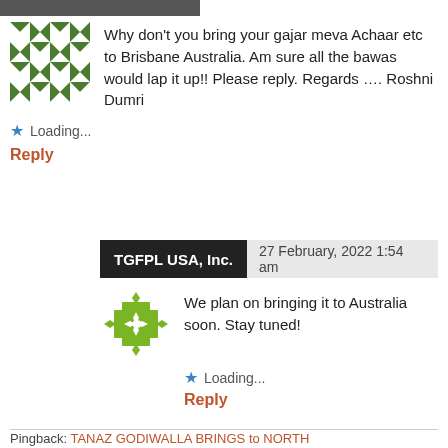[Figure (illustration): Geometric green and white quilt-pattern avatar for comment author]
Why don't you bring your gajar meva Achaar etc to Brisbane Australia. Am sure all the bawas would lap it up!! Please reply. Regards …. Roshni Dumri
Loading...
Reply
TGFPL USA, Inc.   27 February, 2022 1:54 am
[Figure (logo): Green cross/diamond logo for TGFPL USA, Inc.]
We plan on bringing it to Australia soon. Stay tuned!
Loading...
Reply
Pingback: TANAZ GODIWALLA BRINGS to NORTH